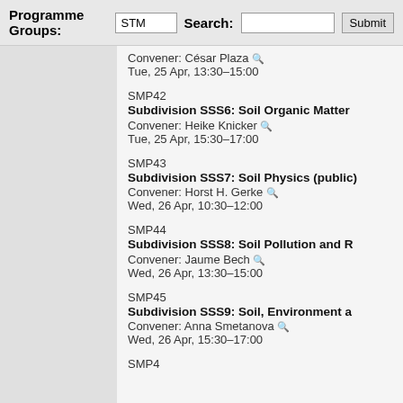Programme Groups: STM   Search:  Submit
Convener: César Plaza
Tue, 25 Apr, 13:30–15:00
SMP42
Subdivision SSS6: Soil Organic Matter
Convener: Heike Knicker
Tue, 25 Apr, 15:30–17:00
SMP43
Subdivision SSS7: Soil Physics (public)
Convener: Horst H. Gerke
Wed, 26 Apr, 10:30–12:00
SMP44
Subdivision SSS8: Soil Pollution and R
Convener: Jaume Bech
Wed, 26 Apr, 13:30–15:00
SMP45
Subdivision SSS9: Soil, Environment a
Convener: Anna Smetanova
Wed, 26 Apr, 15:30–17:00